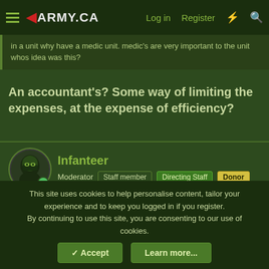ARMY.CA - Log in | Register
in a unit why have a medic unit. medic's are very important to the unit whos idea was this?
An accountant's? Some way of limiting the expenses, at the expense of efficiency?
Infanteer - Moderator - Staff member - Directing Staff - Donor
24 Feb 2004  #10
It'll also require me to start from square one in a new MOC for the THIRD time. Not that I'm bitter or angry or anything.
Now that truely sucks. Will you get to keep all of your PLQ
This site uses cookies to help personalise content, tailor your experience and to keep you logged in if you register.
By continuing to use this site, you are consenting to our use of cookies.